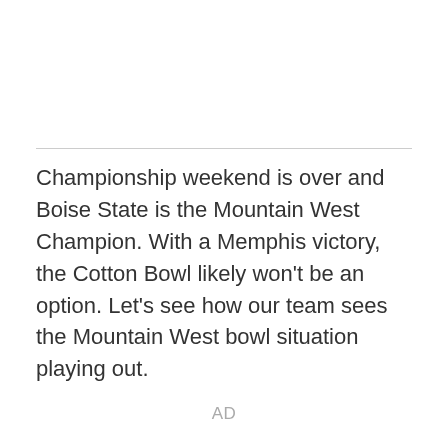Championship weekend is over and Boise State is the Mountain West Champion. With a Memphis victory, the Cotton Bowl likely won't be an option. Let's see how our team sees the Mountain West bowl situation playing out.
AD